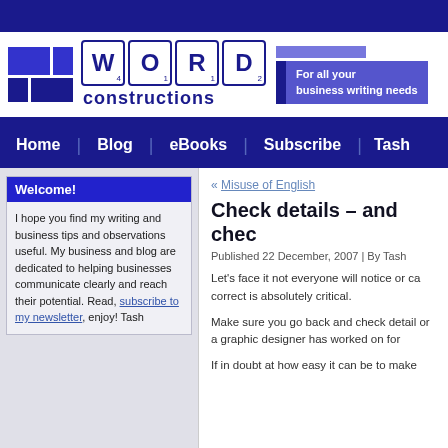[Figure (logo): Word Constructions logo with scrabble tiles spelling WORD and blue tile mosaic graphic]
For all your business writing needs
Home | Blog | eBooks | Subscribe | Tash
Welcome!
I hope you find my writing and business tips and observations useful. My business and blog are dedicated to helping businesses communicate clearly and reach their potential. Read, subscribe to my newsletter, enjoy! Tash
« Misuse of English
Check details – and chec
Published 22 December, 2007 | By Tash
Let's face it not everyone will notice or ca correct is absolutely critical.
Make sure you go back and check detail or a graphic designer has worked on for
If in doubt at how easy it can be to make